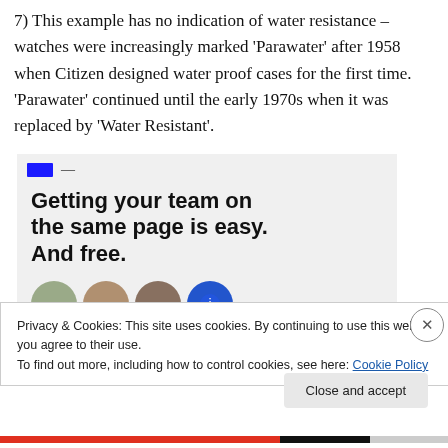7) This example has no indication of water resistance – watches were increasingly marked 'Parawater' after 1958 when Citizen designed water proof cases for the first time. 'Parawater' continued until the early 1970s when it was replaced by 'Water Resistant'.
[Figure (screenshot): Advertisement banner with bold headline 'Getting your team on the same page is easy. And free.' with circular avatar images at bottom]
Privacy & Cookies: This site uses cookies. By continuing to use this website, you agree to their use.
To find out more, including how to control cookies, see here: Cookie Policy
Close and accept